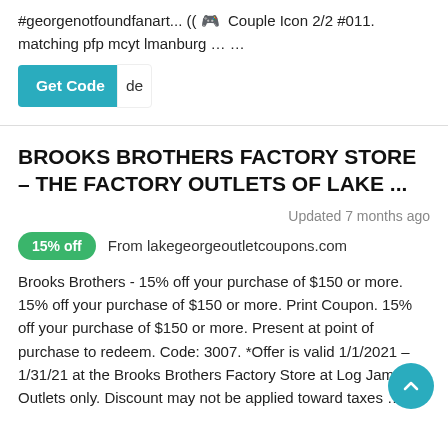#georgenotfoundfanart... (( 🎮 Couple Icon 2/2 #011. matching pfp mcyt lmanburg … …
[Figure (screenshot): A teal 'Get Code' button with text 'de' appearing to the right]
BROOKS BROTHERS FACTORY STORE – THE FACTORY OUTLETS OF LAKE ...
Updated 7 months ago
15% off   From lakegeorgeoutletcoupons.com
Brooks Brothers - 15% off your purchase of $150 or more. 15% off your purchase of $150 or more. Print Coupon. 15% off your purchase of $150 or more. Present at point of purchase to redeem. Code: 3007. *Offer is valid 1/1/2021 – 1/31/21 at the Brooks Brothers Factory Store at Log Jam Outlets only. Discount may not be applied toward taxes … …